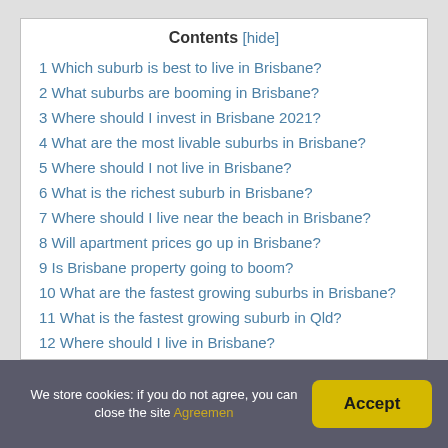Contents [hide]
1 Which suburb is best to live in Brisbane?
2 What suburbs are booming in Brisbane?
3 Where should I invest in Brisbane 2021?
4 What are the most livable suburbs in Brisbane?
5 Where should I not live in Brisbane?
6 What is the richest suburb in Brisbane?
7 Where should I live near the beach in Brisbane?
8 Will apartment prices go up in Brisbane?
9 Is Brisbane property going to boom?
10 What are the fastest growing suburbs in Brisbane?
11 What is the fastest growing suburb in Qld?
12 Where should I live in Brisbane?
13 Is North or South Brisbane better?
We store cookies: if you do not agree, you can close the site Agreement